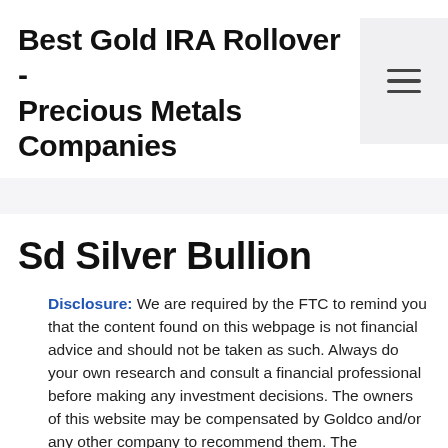Best Gold IRA Rollover - Precious Metals Companies
Sd Silver Bullion
Disclosure: We are required by the FTC to remind you that the content found on this webpage is not financial advice and should not be taken as such. Always do your own research and consult a financial professional before making any investment decisions. The owners of this website may be compensated by Goldco and/or any other company to recommend them. The